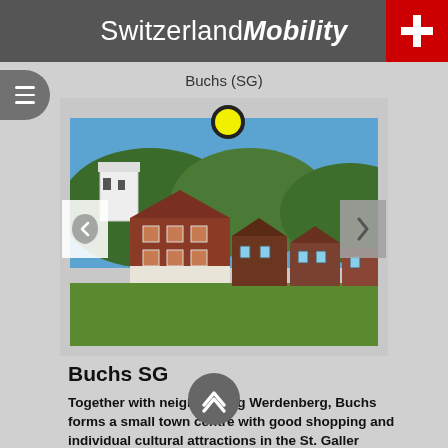SwitzerlandMobility
Buchs (SG)
[Figure (photo): Exterior view of Buchs SG town showing traditional Swiss buildings — a red/brown decorated historic house in the foreground, white castle building on hill behind, surrounded by green trees under a blue sky.]
Buchs SG
Together with neighbouring Werdenberg, Buchs forms a small town centre with good shopping and individual cultural attractions in the St. Galler Rheintal. The location on the border to Lichtenstein gives the centre an international flair.